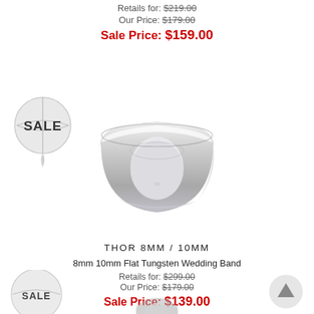Retails for: $219.00
Our Price: $179.00
Sale Price: $159.00
[Figure (photo): SALE badge with globe/map pin icon]
[Figure (photo): Polished flat tungsten wedding band ring, silver color]
THOR 8MM / 10MM
8mm 10mm Flat Tungsten Wedding Band
Retails for: $299.00
Our Price: $179.00
Sale Price: $139.00
[Figure (logo): SALE badge with globe/map pin icon (partial, bottom left)]
[Figure (photo): Scroll to top arrow button (bottom right)]
[Figure (photo): Next ring product image (partial, bottom center)]